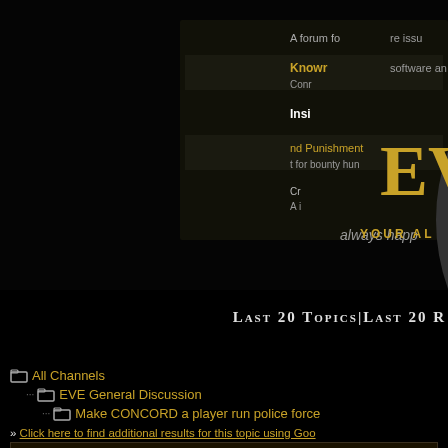[Figure (screenshot): EVE Online forum screenshot with magnifying glass overlay showing forum categories including 'Known Issues', 'Crime and Punishment', and other sections. EVE branding visible in gold on the right.]
Last 20 Topics | Last 20 R
All Channels
EVE General Discussion
Make CONCORD a player run police force
» Click here to find additional results for this topic using Goo
Pages: [1] 2 3 :: one page